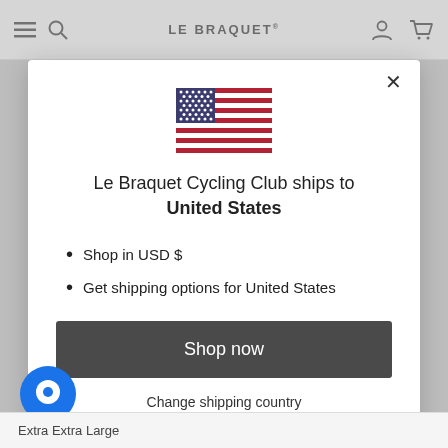LE BRAQUET
[Figure (illustration): US flag emoji/illustration centered in modal]
Le Braquet Cycling Club ships to United States
Shop in USD $
Get shipping options for United States
Shop now
Change shipping country
Extra Extra Large